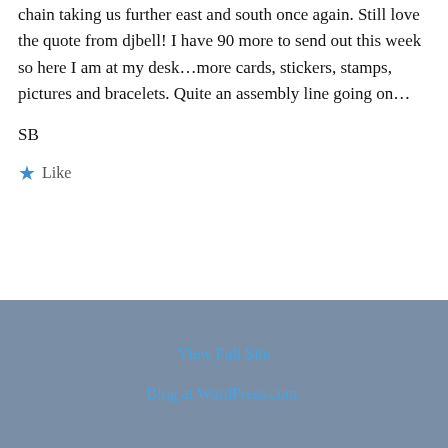chain taking us further east and south once again. Still love the quote from djbell! I have 90 more to send out this week so here I am at my desk…more cards, stickers, stamps, pictures and bracelets. Quite an assembly line going on…
SB
★ Like
View Full Site
Blog at WordPress.com.